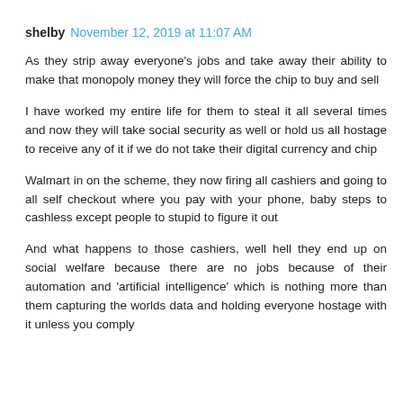shelby  November 12, 2019 at 11:07 AM
As they strip away everyone's jobs and take away their ability to make that monopoly money they will force the chip to buy and sell
I have worked my entire life for them to steal it all several times and now they will take social security as well or hold us all hostage to receive any of it if we do not take their digital currency and chip
Walmart in on the scheme, they now firing all cashiers and going to all self checkout where you pay with your phone, baby steps to cashless except people to stupid to figure it out
And what happens to those cashiers, well hell they end up on social welfare because there are no jobs because of their automation and 'artificial intelligence' which is nothing more than them capturing the worlds data and holding everyone hostage with it unless you comply